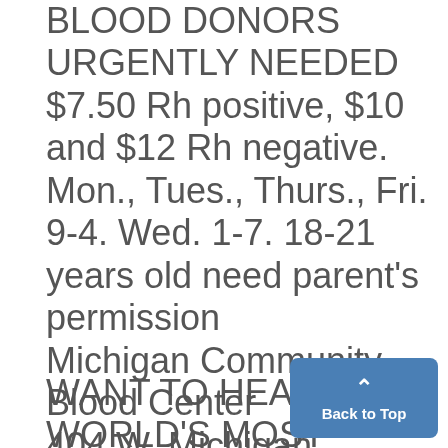BLOOD DONORS URGENTLY NEEDED $7.50 Rh positive, $10 and $12 Rh negative. Mon., Tues., Thurs., Fri. 9-4. Wed. 1-7. 18-21 years old need parent's permission Michigan Community Blood Center 404 W. Michigan, Ypsilanti 483-1894 F
WANT TO HEAR THE WORLD'S MOST GIFTED CONVERSATIONALIST? Record your own voice at Ann